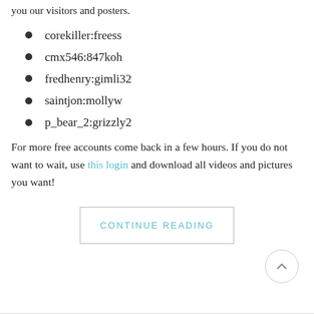you our visitors and posters.
corekiller:freess
cmx546:847koh
fredhenry:gimli32
saintjon:mollyw
p_bear_2:grizzly2
For more free accounts come back in a few hours. If you do not want to wait, use this login and download all videos and pictures you want!
CONTINUE READING